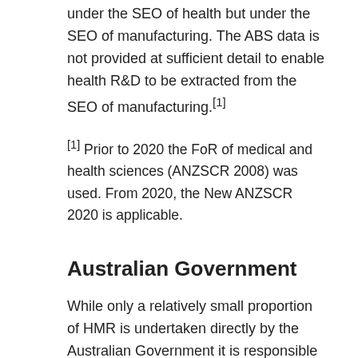under the SEO of health but under the SEO of manufacturing. The ABS data is not provided at sufficient detail to enable health R&D to be extracted from the SEO of manufacturing.[1]
[1] Prior to 2020 the FoR of medical and health sciences (ANZSCR 2008) was used. From 2020, the New ANZSCR 2020 is applicable.
Australian Government
While only a relatively small proportion of HMR is undertaken directly by the Australian Government it is responsible for providing the funding for a much larger proportion, particularly in higher education and Medical Research Institutes (MRIs). This includes funding provided through the National Health and